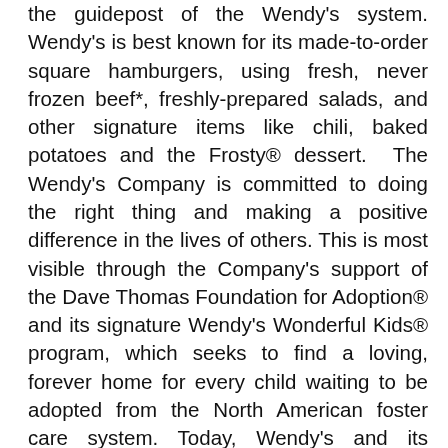the guidepost of the Wendy's system. Wendy's is best known for its made-to-order square hamburgers, using fresh, never frozen beef*, freshly-prepared salads, and other signature items like chili, baked potatoes and the Frosty® dessert.  The Wendy's Company is committed to doing the right thing and making a positive difference in the lives of others. This is most visible through the Company's support of the Dave Thomas Foundation for Adoption® and its signature Wendy's Wonderful Kids® program, which seeks to find a loving, forever home for every child waiting to be adopted from the North American foster care system. Today, Wendy's and its franchisees employ hundreds of thousands of people across more than 6,800 restaurants worldwide with a vision of becoming the world's most thriving and beloved restaurant brand. For details on franchising, connect with us at www.wendys.com/franchising. Visit www.wendys.com and www.squaredealblog.com for more information and connect with us on Twitter and Instagram using @wendys, and on Facebook